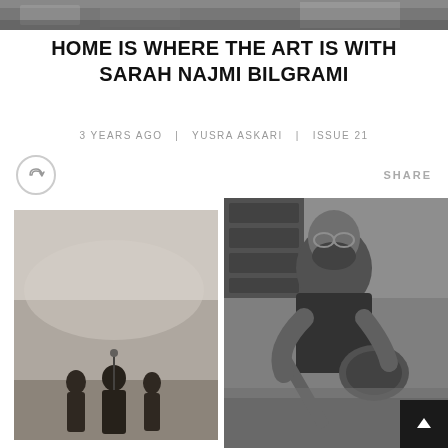[Figure (photo): Top banner photo, partially visible, appears to show people and foliage]
HOME IS WHERE THE ART IS WITH SARAH NAJMI BILGRAMI
3 YEARS AGO  |  YUSRA ASKARI  |  ISSUE 21
[Figure (photo): Black and white photo of musicians/performers on stage with misty background]
[Figure (photo): Black and white close-up photo of a bearded man playing electric guitar on stage with speakers visible in background]